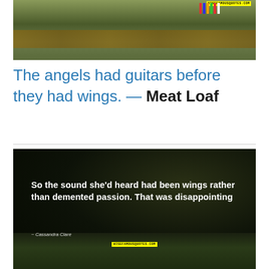[Figure (photo): Outdoor garden/yard scene with green hedges and a wooden fence, colorful striped items visible, watermark 'WISEFAMOUSQUOTES.COM' in yellow banner top right]
The angels had guitars before they had wings. — Meat Loaf
[Figure (photo): Dark outdoor night scene with green grass, a cat visible at bottom, overlaid quote text in white: 'So the sound she'd heard had been wings rather than demented passion. That was disappointing' ~ Cassandra Clare, with WISEFAMOUSQUOTES.COM watermark in yellow]